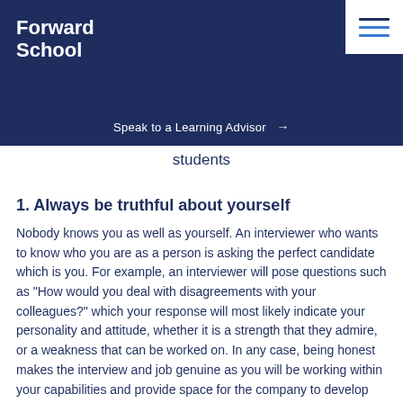Forward School
Speak to a Learning Advisor →
students
1. Always be truthful about yourself
Nobody knows you as well as yourself. An interviewer who wants to know who you are as a person is asking the perfect candidate which is you. For example, an interviewer will pose questions such as "How would you deal with disagreements with your colleagues?" which your response will most likely indicate your personality and attitude, whether it is a strength that they admire, or a weakness that can be worked on. In any case, being honest makes the interview and job genuine as you will be working within your capabilities and provide space for the company to develop you according to your